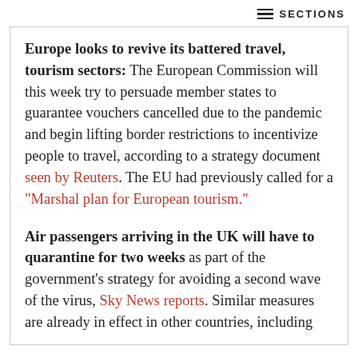SECTIONS
Europe looks to revive its battered travel, tourism sectors: The European Commission will this week try to persuade member states to guarantee vouchers cancelled due to the pandemic and begin lifting border restrictions to incentivize people to travel, according to a strategy document seen by Reuters. The EU had previously called for a "Marshal plan for European tourism."
Air passengers arriving in the UK will have to quarantine for two weeks as part of the government's strategy for avoiding a second wave of the virus, Sky News reports. Similar measures are already in effect in other countries, including Canada...